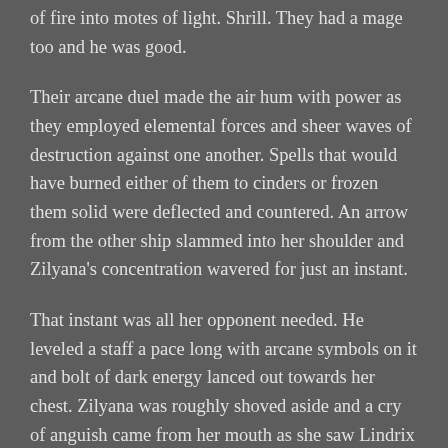of fire into motes of light.  Shrill.  They had a mage too and he was good.
Their arcane duel made the air hum with power as they employed elemental forces and sheer waves of destruction against one another.  Spells that would have burned either of them to cinders or frozen them solid were deflected and countered.  An arrow from the other ship slammed into her shoulder and Zilyana's concentration wavered for just an instant.
That instant was all her opponent needed.  He leveled a staff a pace long with arcane symbols on it and bolt of dark energy lanced out towards her chest.  Zilyana was roughly shoved aside and a cry of anguish came from her mouth as she saw Lindrix falling to the deck with half his torso missing.  It was just gone.